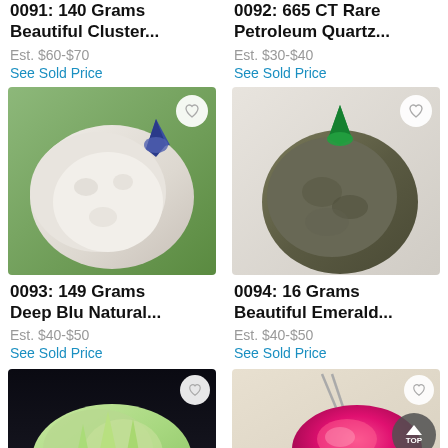0091: 140 Grams Beautiful Cluster...
Est. $60-$70
See Sold Price
0092: 665 CT Rare Petroleum Quartz...
Est. $30-$40
See Sold Price
[Figure (photo): White/pale mineral cluster with blue crystal on top, photographed on green grass background]
[Figure (photo): Dark olive-green rough mineral/stone with bright green crystal point on top, on white background]
0093: 149 Grams Deep Blu Natural...
Est. $40-$50
See Sold Price
0094: 16 Grams Beautiful Emerald...
Est. $40-$50
See Sold Price
[Figure (photo): Pale yellow-green mineral cluster on black background, partially visible]
[Figure (photo): Bright pink/magenta polished gemstone with tweezers, partially visible]